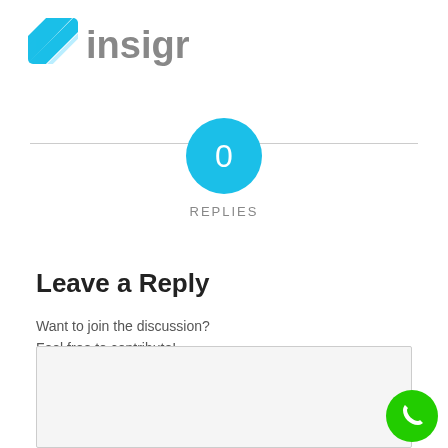[Figure (logo): Insigr company logo with blue striped icon and gray text reading 'insigr']
0
REPLIES
Leave a Reply
Want to join the discussion?
Feel free to contribute!
[Figure (screenshot): Empty text input area with light gray background and border]
[Figure (illustration): Green circular phone call button in bottom right corner]